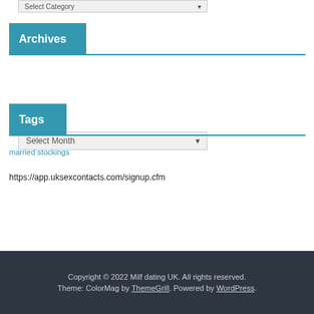[Figure (screenshot): Select Category dropdown UI element]
Archives
[Figure (screenshot): Select Month dropdown UI element]
Tags
married stockings
https://app.uksexcontacts.com/signup.cfm
Copyright © 2022 Milf dating UK. All rights reserved. Theme: ColorMag by ThemeGrill. Powered by WordPress.